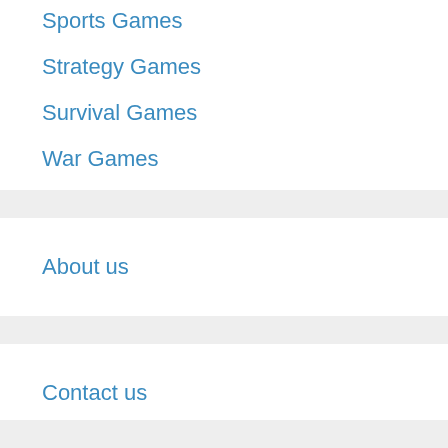Sports Games
Strategy Games
Survival Games
War Games
About us
Contact us